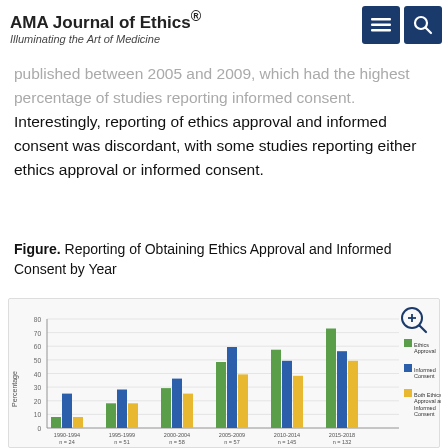AMA Journal of Ethics® — Illuminating the Art of Medicine
published between 2005 and 2009, which had the highest percentage of studies reporting informed consent. Interestingly, reporting of ethics approval and informed consent was discordant, with some studies reporting either ethics approval or informed consent.
Figure. Reporting of Obtaining Ethics Approval and Informed Consent by Year
[Figure (grouped-bar-chart): Reporting of Obtaining Ethics Approval and Informed Consent by Year]